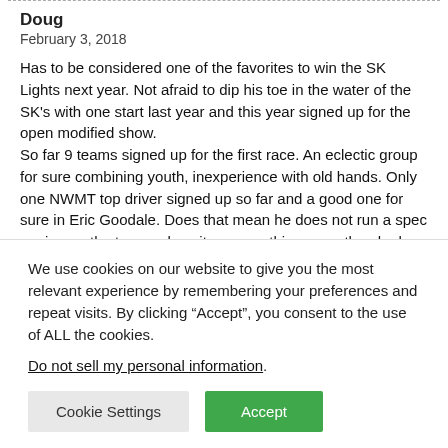Doug
February 3, 2018
Has to be considered one of the favorites to win the SK Lights next year. Not afraid to dip his toe in the water of the SK's with one start last year and this year signed up for the open modified show.
So far 9 teams signed up for the first race. An eclectic group for sure combining youth, inexperience with old hands. Only one NWMT top driver signed up so far and a good one for sure in Eric Goodale. Does that mean he does not run a spec engine on the tour or does it mean nothing more then he has engine options. Quinn Christopher has her entry with Mike Jr driving. Old tour hands Jeff Callun and Jeff Malaye signed up. Robert
We use cookies on our website to give you the most relevant experience by remembering your preferences and repeat visits. By clicking “Accept”, you consent to the use of ALL the cookies.
Do not sell my personal information.
Cookie Settings
Accept